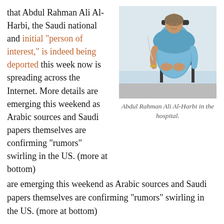that Abdul Rahman Ali Al-Harbi, the Saudi national and initial "person of interest," is indeed being deported this week now is spreading across the Internet. More details are emerging this weekend as Arabic sources and Saudi papers themselves are confirming "rumors" swirling in the US. (more at bottom)
[Figure (photo): Photo of Abdul Rahman Ali Al-Harbi seated in a hospital chair, wearing a blue traditional outfit, with an IV in his hand.]
Abdul Rahman Ali Al-Harbi in the hospital.
Moreover, the Saudi papers are detailing the visit by the Obamas, especially Michelle to the hospital and this man. The "rumors" of the President meeting with Saudi officials in the hospital just prior to his "approved deportation" is a bragging right in their press.